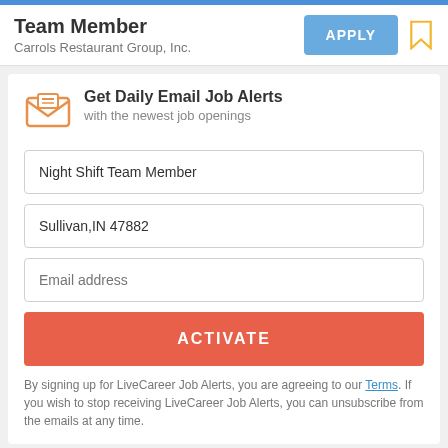Team Member
Carrols Restaurant Group, Inc.
Get Daily Email Job Alerts
with the newest job openings
Night Shift Team Member
Sullivan,IN 47882
Email address
ACTIVATE
By signing up for LiveCareer Job Alerts, you are agreeing to our Terms. If you wish to stop receiving LiveCareer Job Alerts, you can unsubscribe from the emails at any time.
Resume Templates
Resume Examples
Resume Builder